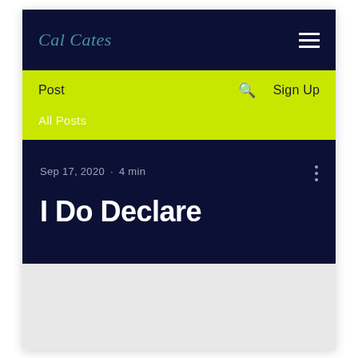Cal Cates
Post  Sign Up
All Posts
Sep 17, 2020 · 4 min
I Do Declare